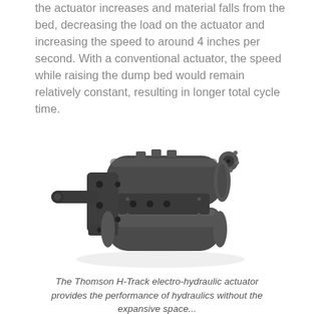the actuator increases and material falls from the bed, decreasing the load on the actuator and increasing the speed to around 4 inches per second. With a conventional actuator, the speed while raising the dump bed would remain relatively constant, resulting in longer total cycle time.
[Figure (photo): Thomson H-Track electro-hydraulic actuator unit — a compact dark grey/black dual-cylinder electro-hydraulic actuator with mounting brackets, hydraulic ports, and a protruding rod on the left side, photographed on a white background.]
The Thomson H-Track electro-hydraulic actuator provides the performance of hydraulics without the expansive space...